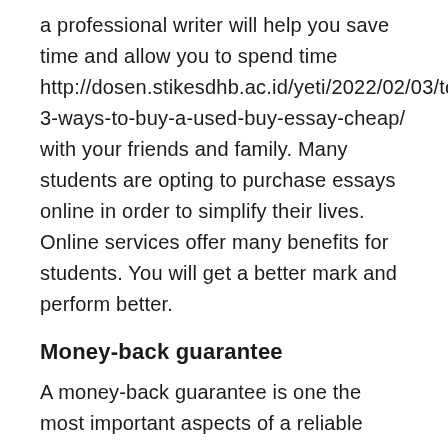a professional writer will help you save time and allow you to spend time http://dosen.stikesdhb.ac.id/yeti/2022/02/03/top-3-ways-to-buy-a-used-buy-essay-cheap/ with your friends and family. Many students are opting to purchase essays online in order to simplify their lives. Online services offer many benefits for students. You will get a better mark and perform better.
Money-back guarantee
A money-back guarantee is one the most important aspects of a reliable